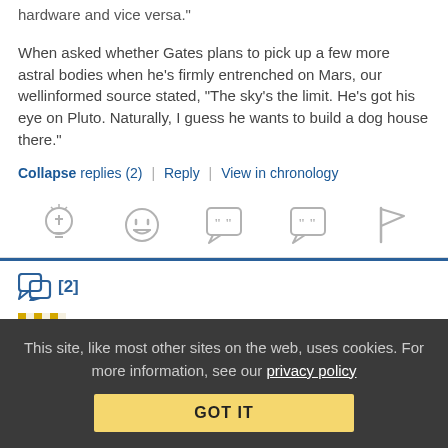hardware and vice versa."
When asked whether Gates plans to pick up a few more astral bodies when he's firmly entrenched on Mars, our wellinformed source stated, “The sky’s the limit. He’s got his eye on Pluto. Naturally, I guess he wants to build a dog house there.”
Collapse replies (2) | Reply | View in chronology
[Figure (infographic): Row of 5 gray reaction/action icons: lightbulb, laughing face emoji, speech bubble with quotes, speech bubble with quotes, flag]
[Figure (infographic): Thread reply icon with count [2] in blue]
noname   October 19, 2009 at 9:06 am
This site, like most other sites on the web, uses cookies. For more information, see our privacy policy
GOT IT